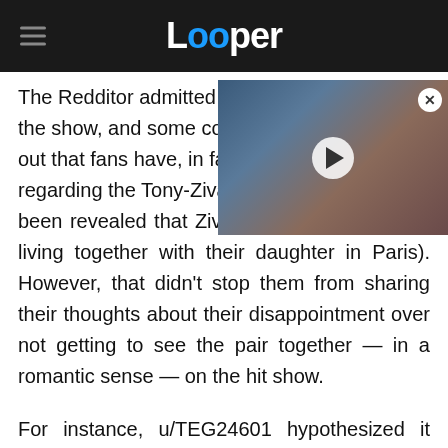Looper
The Redditor admitted they [hit him with] the show, and some comme[nters pointed] out that fans have, in fact, r[eceived news] regarding the Tony-Ziva rom[ance. It has] been revealed that Ziva and Tony are happily living together with their daughter in Paris). However, that didn't stop them from sharing their thoughts about their disappointment over not getting to see the pair together — in a romantic sense — on the hit show.
[Figure (screenshot): Video thumbnail showing a woman's face, partially overlapping the article text, with a play button in the center and a close (X) button in the top right corner.]
For instance, u/TEG24601 hypothesized it was "partially because they didn't want to have an on-